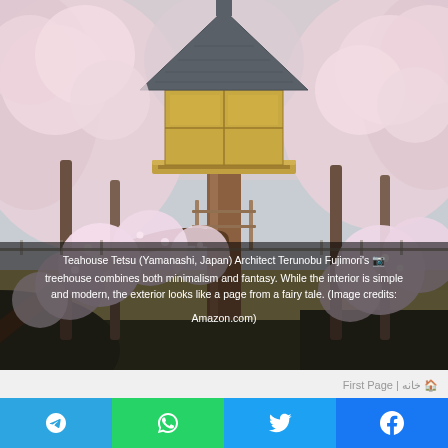[Figure (photo): Teahouse Tetsu treehouse by architect Terunobu Fujimori in Yamanashi, Japan. A small wooden Japanese-style treehouse with a tiled roof elevated on a single tree trunk, surrounded by cherry blossom trees in full pink bloom.]
Teahouse Tetsu (Yamanashi, Japan) Architect Terunobu Fujimori's treehouse combines both minimalism and fantasy. While the interior is simple and modern, the exterior looks like a page from a fairy tale. (Image credits: Amazon.com)
First Page | خانه 🏠